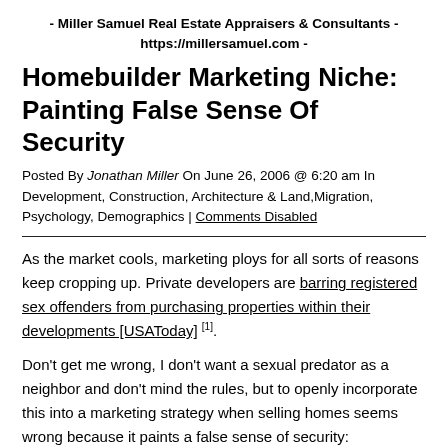- Miller Samuel Real Estate Appraisers & Consultants - https://millersamuel.com -
Homebuilder Marketing Niche: Painting False Sense Of Security
Posted By Jonathan Miller On June 26, 2006 @ 6:20 am In Development, Construction, Architecture & Land,Migration, Psychology, Demographics | Comments Disabled
As the market cools, marketing ploys for all sorts of reasons keep cropping up. Private developers are barring registered sex offenders from purchasing properties within their developments [USAToday] [1].
Don't get me wrong, I don't want a sexual predator as a neighbor and don't mind the rules, but to openly incorporate this into a marketing strategy when selling homes seems wrong because it paints a false sense of security:
The sex offender deal has improved demand. It's probably increased